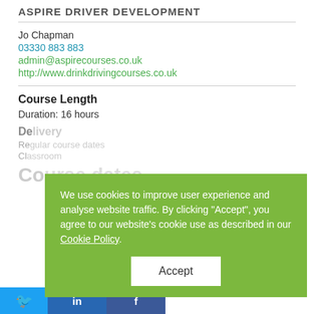ASPIRE DRIVER DEVELOPMENT
Jo Chapman
03330 883 883
admin@aspirecourses.co.uk
http://www.drinkdrivingcourses.co.uk
Course Length
Duration: 16 hours
Delivery
Regular course dates
Classroom
Course dates
We use cookies to improve user experience and analyse website traffic. By clicking "Accept", you agree to our website's cookie use as described in our Cookie Policy.
Accept